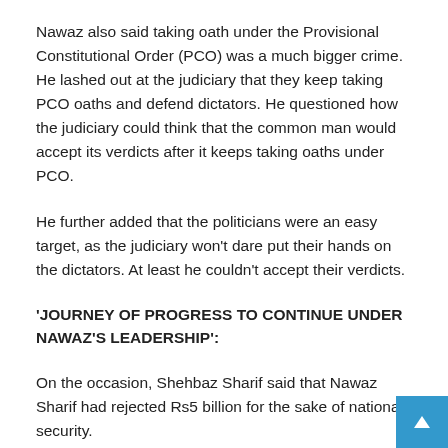Nawaz also said taking oath under the Provisional Constitutional Order (PCO) was a much bigger crime. He lashed out at the judiciary that they keep taking PCO oaths and defend dictators. He questioned how the judiciary could think that the common man would accept its verdicts after it keeps taking oaths under PCO.
He further added that the politicians were an easy target, as the judiciary won't dare put their hands on the dictators. At least he couldn't accept their verdicts.
'JOURNEY OF PROGRESS TO CONTINUE UNDER NAWAZ'S LEADERSHIP':
On the occasion, Shehbaz Sharif said that Nawaz Sharif had rejected Rs5 billion for the sake of national security.